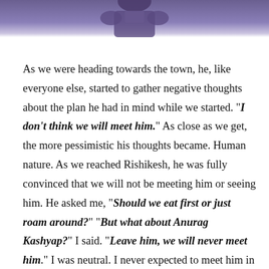[Figure (photo): Top portion of a photo showing a person wearing a purple/violet outfit, cropped at the top of the page]
As we were heading towards the town, he, like everyone else, started to gather negative thoughts about the plan he had in mind while we started. "I don't think we will meet him." As close as we get, the more pessimistic his thoughts became. Human nature. As we reached Rishikesh, he was fully convinced that we will not be meeting him or seeing him. He asked me, "Should we eat first or just roam around?" "But what about Anurag Kashyap?" I said. "Leave him, we will never meet him." I was neutral. I never expected to meet him in the first place. I myself is a huge fan of Anurag and really praise his work and contribution to Indian cinema. A movie which says, Anurag Kashyap's movie, is worth